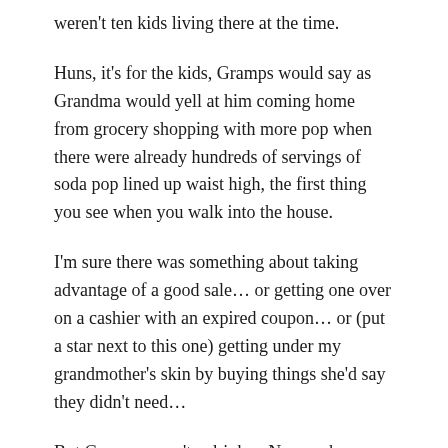weren't ten kids living there at the time.
Huns, it's for the kids, Gramps would say as Grandma would yell at him coming home from grocery shopping with more pop when there were already hundreds of servings of soda pop lined up waist high, the first thing you see when you walk into the house.
I'm sure there was something about taking advantage of a good sale… or getting one over on a cashier with an expired coupon… or (put a star next to this one) getting under my grandmother's skin by buying things she'd say they didn't need…
But Gramps wasn't a drinker. Never a beer or a highball, but would relax with a coffee or a pop.
He also really wanted to share his pop, and make